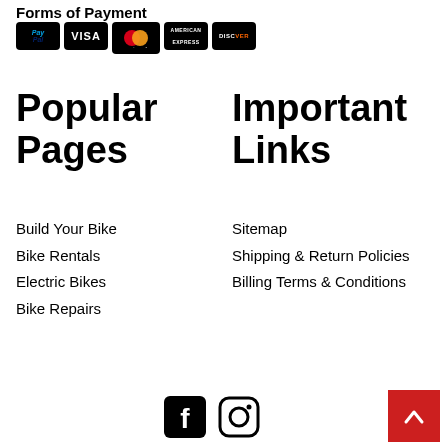Forms of Payment
[Figure (logo): Payment method icons: PayPal, VISA, Mastercard, American Express, Discover]
Popular Pages
Important Links
Build Your Bike
Bike Rentals
Electric Bikes
Bike Repairs
Sitemap
Shipping & Return Policies
Billing Terms & Conditions
[Figure (logo): Facebook and Instagram social media icons]
[Figure (other): Red scroll-to-top button with upward chevron arrow]